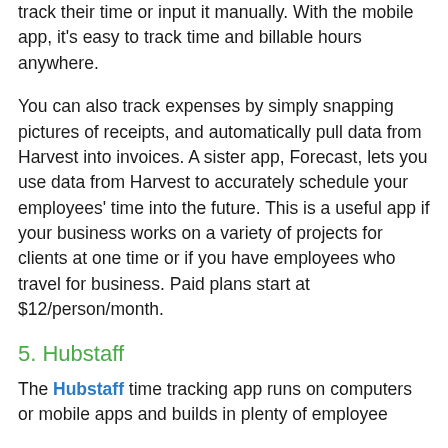track their time or input it manually. With the mobile app, it's easy to track time and billable hours anywhere.
You can also track expenses by simply snapping pictures of receipts, and automatically pull data from Harvest into invoices. A sister app, Forecast, lets you use data from Harvest to accurately schedule your employees' time into the future. This is a useful app if your business works on a variety of projects for clients at one time or if you have employees who travel for business. Paid plans start at $12/person/month.
5. Hubstaff
The Hubstaff time tracking app runs on computers or mobile apps and builds in plenty of employee